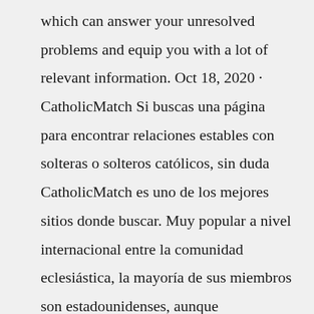which can answer your unresolved problems and equip you with a lot of relevant information. Oct 18, 2020 · CatholicMatch Si buscas una página para encontrar relaciones estables con solteras o solteros católicos, sin duda CatholicMatch es uno de los mejores sitios donde buscar. Muy popular a nivel internacional entre la comunidad eclesiástica, la mayoría de sus miembros son estadounidenses, aunque